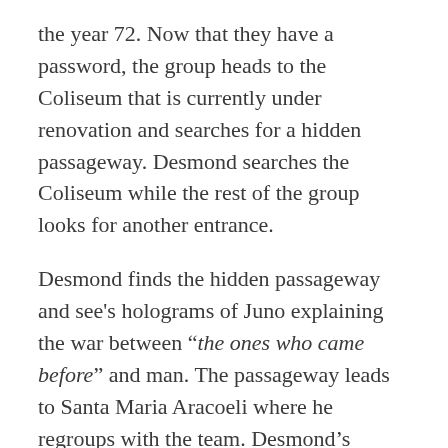the year 72. Now that they have a password, the group heads to the Coliseum that is currently under renovation and searches for a hidden passageway. Desmond searches the Coliseum while the rest of the group looks for another entrance.
Desmond finds the hidden passageway and see's holograms of Juno explaining the war between "the ones who came before" and man. The passageway leads to Santa Maria Aracoeli where he regroups with the team. Desmond's bleeding effect allows him to see Ezio's ghost unlocking an elevator to Juno's temple. Once inside, they speak the password "seventy-two" and unlock the